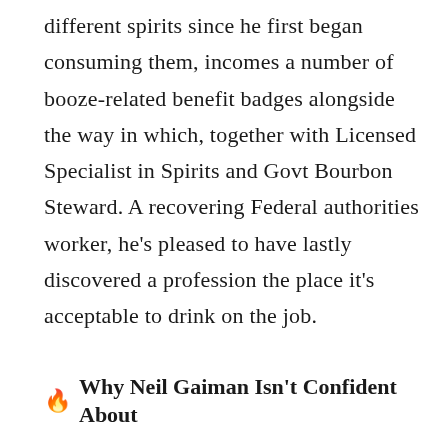different spirits since he first began consuming them, incomes a number of booze-related benefit badges alongside the way in which, together with Licensed Specialist in Spirits and Govt Bourbon Steward. A recovering Federal authorities worker, he's pleased to have lastly discovered a profession the place it's acceptable to drink on the job.
🔥 Why Neil Gaiman Isn't Confident About